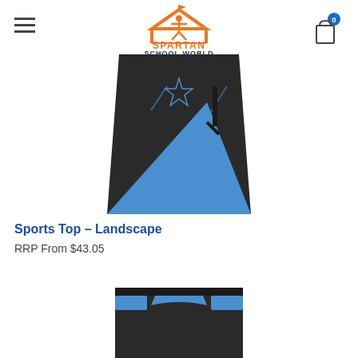[Figure (logo): Spartan School World logo with orange figure under a roof with flag and text SPARTAN SCHOOL WORLD in orange and dark blue]
[Figure (photo): Blue and black sports top - Landscape design showing a jersey with a star motif and diagonal color split]
Sports Top – Landscape
RRP From $43.05
[Figure (photo): Partial view of another sports top in blue and black at the bottom of the page]